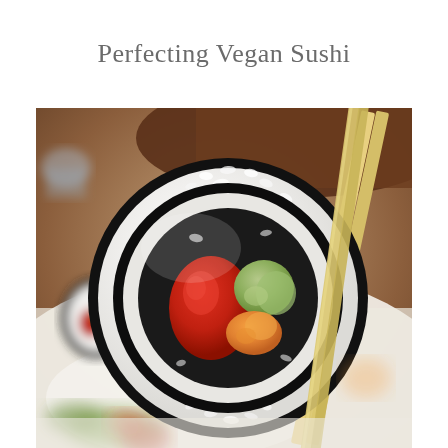Perfecting Vegan Sushi
[Figure (photo): Close-up photo of a vegan sushi roll held by chopsticks, showing rice wrapped in nori seaweed with red tomato, green avocado, and orange filling visible in the cross-section. Blurred background shows a plate with more sushi rolls.]